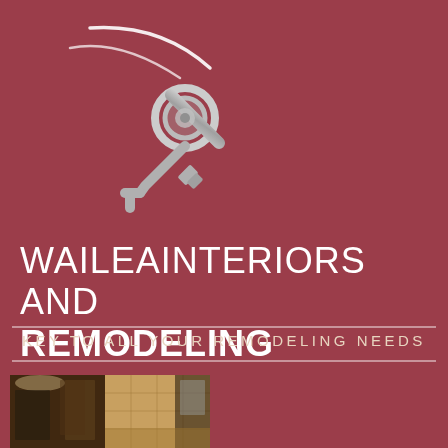[Figure (logo): Whailea Interiors and Remodeling logo featuring a stylized key with a curved line above it, rendered in white/silver on a dark red background]
WAILEAINTERIORS AND REMODELING
KEY TO ALL YOUR REMODELING NEEDS
[Figure (photo): Two bathroom remodel photos side by side showing interior spaces with marble tile walls and lighting fixtures]